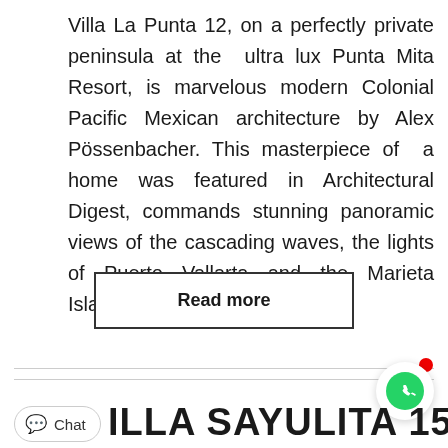Villa La Punta 12, on a perfectly private peninsula at the ultra lux Punta Mita Resort, is marvelous modern Colonial Pacific Mexican architecture by Alex Pössenbacher. This masterpiece of a home was featured in Architectural Digest, commands stunning panoramic views of the cascading waves, the lights of Puerto Vallarta and the Marieta Islands.
Read more
VILLA SAYULITA 15